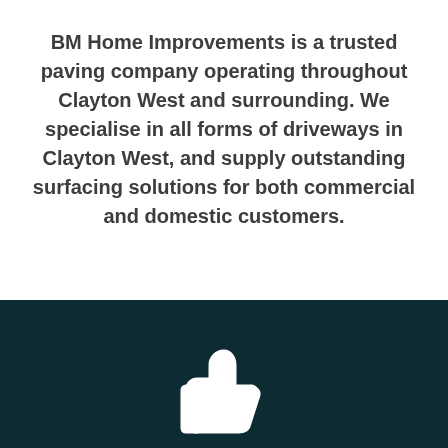BM Home Improvements is a trusted paving company operating throughout Clayton West and surrounding. We specialise in all forms of driveways in Clayton West, and supply outstanding surfacing solutions for both commercial and domestic customers.
[Figure (illustration): White thumbs up icon on dark teal/navy background footer]